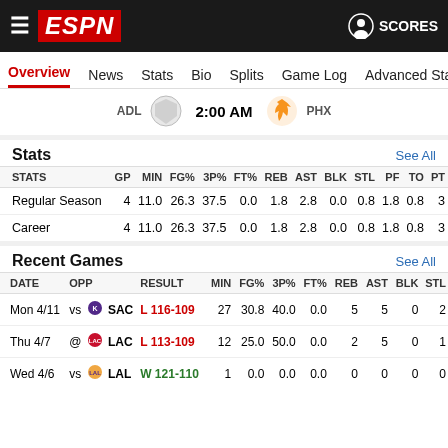ESPN - SCORES
Overview | News | Stats | Bio | Splits | Game Log | Advanced Stats
ADL 2:00 AM PHX
Stats  See All
| STATS | GP | MIN | FG% | 3P% | FT% | REB | AST | BLK | STL | PF | TO | PT |
| --- | --- | --- | --- | --- | --- | --- | --- | --- | --- | --- | --- | --- |
| Regular Season | 4 | 11.0 | 26.3 | 37.5 | 0.0 | 1.8 | 2.8 | 0.0 | 0.8 | 1.8 | 0.8 | 3 |
| Career | 4 | 11.0 | 26.3 | 37.5 | 0.0 | 1.8 | 2.8 | 0.0 | 0.8 | 1.8 | 0.8 | 3 |
Recent Games  See All
| DATE | OPP |  | RESULT | MIN | FG% | 3P% | FT% | REB | AST | BLK | STL |
| --- | --- | --- | --- | --- | --- | --- | --- | --- | --- | --- | --- |
| Mon 4/11 | vs | SAC | L 116-109 | 27 | 30.8 | 40.0 | 0.0 | 5 | 5 | 0 | 2 |
| Thu 4/7 | @ | LAC | L 113-109 | 12 | 25.0 | 50.0 | 0.0 | 2 | 5 | 0 | 1 |
| Wed 4/6 | vs | LAL | W 121-110 | 1 | 0.0 | 0.0 | 0.0 | 0 | 0 | 0 | 0 |